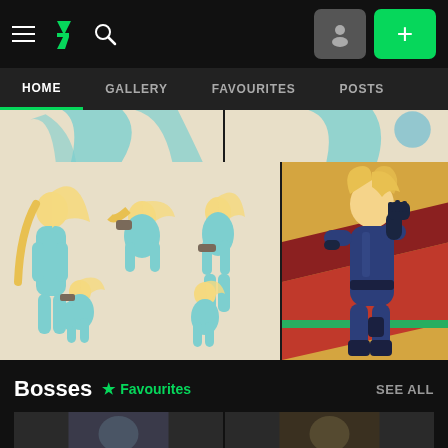DeviantArt navigation bar with hamburger menu, DA logo, search icon, profile button, and + add button
HOME | GALLERY | FAVOURITES | POSTS
[Figure (illustration): Partial view of two anime-style character illustrations (cropped top portions) showing character in light blue suit]
[Figure (illustration): Multiple poses of an anime girl character (Samus from Metroid) in a light blue Zero Suit, blonde hair in ponytail, holding a gun in various action poses on cream background]
[Figure (illustration): Anime girl character in dark blue Zero Suit on orange/red geometric background, hand on hip, dark glove raised]
Bosses ★ Favourites
SEE ALL